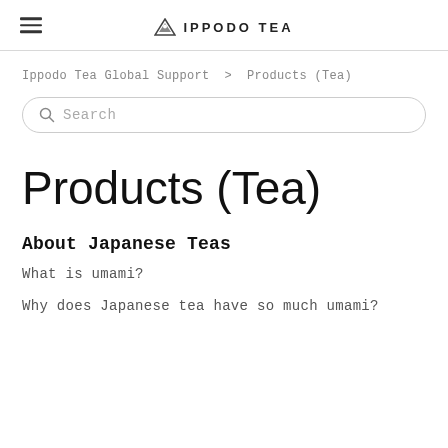IPPODO TEA
Ippodo Tea Global Support > Products (Tea)
Search
Products (Tea)
About Japanese Teas
What is umami?
Why does Japanese tea have so much umami?